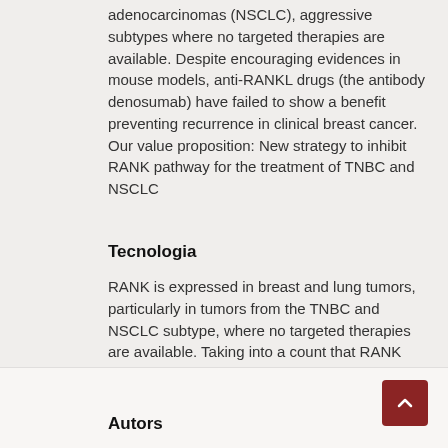adenocarcinomas (NSCLC), aggressive subtypes where no targeted therapies are available. Despite encouraging evidences in mouse models, anti-RANKL drugs (the antibody denosumab) have failed to show a benefit preventing recurrence in clinical breast cancer. Our value proposition: New strategy to inhibit RANK pathway for the treatment of TNBC and NSCLC
Tecnologia
RANK is expressed in breast and lung tumors, particularly in tumors from the TNBC and NSCLC subtype, where no targeted therapies are available. Taking into a count that RANK expression associates with prognosis and RANK receptor can signal in the absence of RANKL, our unique insight to solve this problem is a New strategy to inhibit RANK pathway for the treatment of TNBC and NSCLC.
Autors